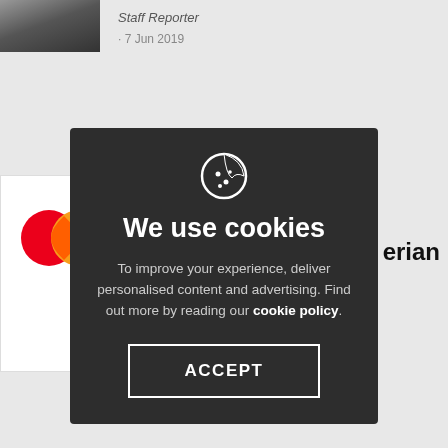[Figure (screenshot): Website page background showing article thumbnails, Mastercard logo, card images, and partial article text, with a cookie consent modal overlaid on top.]
Staff Reporter
· 7 Jun 2019
erian
ave
nd
prize
ht help
by Mastercard Foundation for client help
Staff Reporter
STARTUP NEWS · 9 Nov 2017
We use cookies
To improve your experience, deliver personalised content and advertising. Find out more by reading our cookie policy.
ACCEPT